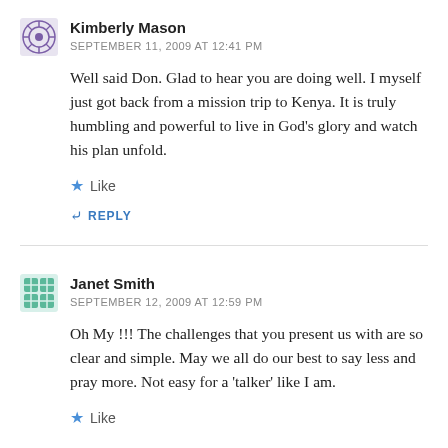Kimberly Mason
SEPTEMBER 11, 2009 AT 12:41 PM
Well said Don. Glad to hear you are doing well. I myself just got back from a mission trip to Kenya. It is truly humbling and powerful to live in God’s glory and watch his plan unfold.
★ Like
↪ REPLY
Janet Smith
SEPTEMBER 12, 2009 AT 12:59 PM
Oh My !!! The challenges that you present us with are so clear and simple. May we all do our best to say less and pray more. Not easy for a ‘talker’ like I am.
★ Like